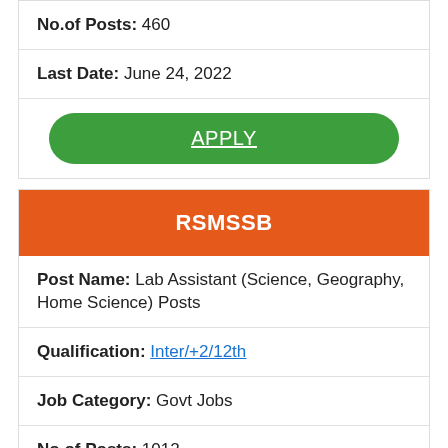No.of Posts: 460
Last Date: June 24, 2022
APPLY
RSMSSB
Post Name: Lab Assistant (Science, Geography, Home Science) Posts
Qualification: Inter/+2/12th
Job Category: Govt Jobs
No.of Posts: 1012
Last Date: April 23, 2022